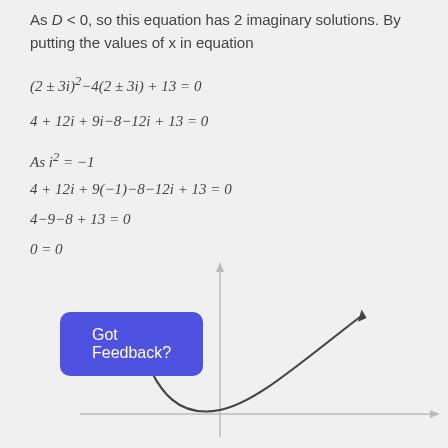As D < 0, so this equation has 2 imaginary solutions. By putting the values of x in equation
[Figure (continuous-plot): Parabola (upward-opening U-shape) plotted on a coordinate axis. The curve has its vertex near the bottom center, with both arms curving upward. The x and y axes are shown with arrows.]
Got Feedback?